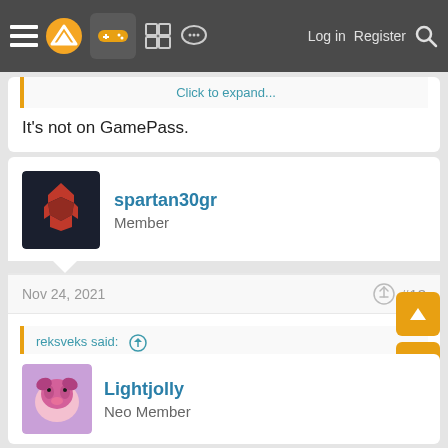Navigation bar with menu, logo, gamepad icon, grid icon, chat icon, Log in, Register, Search
Click to expand...
It's not on GamePass.
spartan30gr
Member
Nov 24, 2021  #13
reksveks said: ↑
It's not on GamePass.
Yes i edit that
Lightjolly
Neo Member